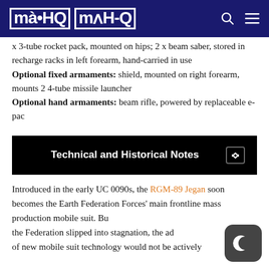MAHQ
x 3-tube rocket pack, mounted on hips; 2 x beam saber, stored in recharge racks in left forearm, hand-carried in use
Optional fixed armaments: shield, mounted on right forearm, mounts 2 4-tube missile launcher
Optional hand armaments: beam rifle, powered by replaceable e-pac
Technical and Historical Notes
Introduced in the early UC 0090s, the RGM-89 Jegan soon becomes the Earth Federation Forces' main frontline mass production mobile suit. But as the Federation slipped into stagnation, the advancement of new mobile suit technology would not be actively